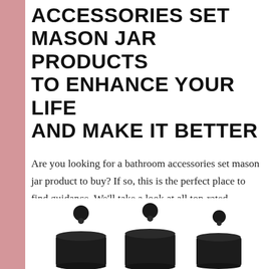ACCESSORIES SET MASON JAR PRODUCTS TO ENHANCE YOUR LIFE AND MAKE IT BETTER
Are you looking for a bathroom accessories set mason jar product to buy? If so, this is the perfect place to find guidance. We’ll take a look at all top-rated bathroom accessories set mason jar products and why we recommend them as the best choices out there.
[Figure (photo): Three black mason jar containers with round ball lids, arranged side by side at the bottom of the page]